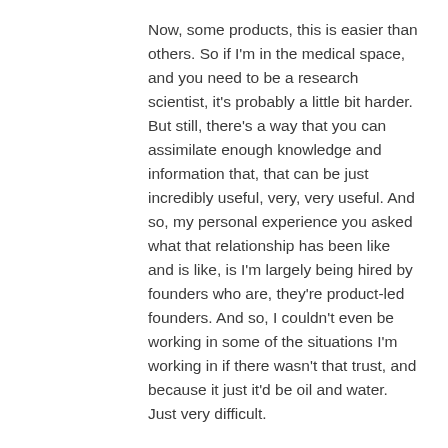Now, some products, this is easier than others. So if I'm in the medical space, and you need to be a research scientist, it's probably a little bit harder. But still, there's a way that you can assimilate enough knowledge and information that, that can be just incredibly useful, very, very useful. And so, my personal experience you asked what that relationship has been like and is like, is I'm largely being hired by founders who are, they're product-led founders. And so, I couldn't even be working in some of the situations I'm working in if there wasn't that trust, and because it just it'd be oil and water. Just very difficult.